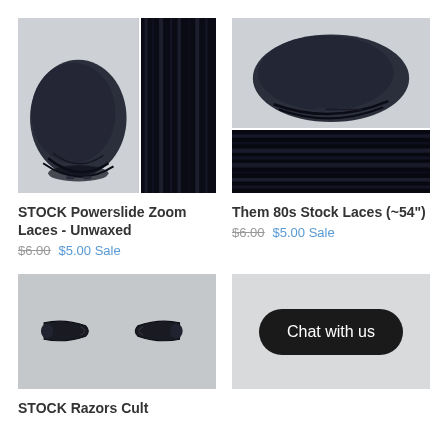[Figure (photo): Two black shoelaces photos side by side - bundled laces on left and close-up of lace texture on right]
STOCK Powerslide Zoom Laces - Unwaxed
$6.00  $5.00 Sale
[Figure (photo): Two stacked photos of black shoelaces - bundled laces on top and close-up texture on bottom]
Them 80s Stock Laces (~54")
$6.00  $5.00 Sale
[Figure (photo): Two black plastic aglet tips for shoelaces on a light background]
STOCK Razors Cult
[Figure (screenshot): Light grey background with a dark oval Chat with us button overlay]